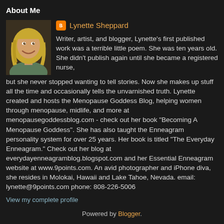About Me
Lynette Sheppard
[Figure (photo): Profile photo of Lynette Sheppard - a woman with blonde hair smiling]
Writer, artist, and blogger, Lynette's first published work was a terrible little poem. She was ten years old. She didn't publish again until she became a registered nurse, but she never stopped wanting to tell stories. Now she makes up stuff all the time and occasionally tells the unvarnished truth. Lynette created and hosts the Menopause Goddess Blog, helping women through menopause, midlife, and more at menopausegoddessblog.com - check out her book "Becoming A Menopause Goddess". She has also taught the Enneagram personality system for over 25 years. Her book is titled "The Everyday Enneagram." Check out her blog at everydayenneagramblog.blogspot.com and her Essential Enneagram website at www.9points.com. An avid photographer and iPhone diva, she resides in Molokai, Hawaii and Lake Tahoe, Nevada. email: lynette@9points.com phone: 808-226-5006
View my complete profile
Powered by Blogger.